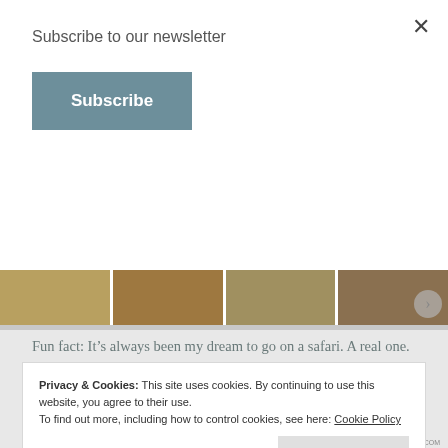Subscribe to our newsletter
Subscribe
[Figure (photo): Four thumbnail photos of safari wildlife scenes in Africa, shown in a horizontal strip]
Fun fact: It’s always been my dream to go on a safari. A real one. In Africa. And can I admit that I was a little envious when my son, at 14-years-old, got to go with his grandparents to visit my sister-in-law’s family in Kenya AND WENT ON A SAFARI? Because I was.
Privacy & Cookies: This site uses cookies. By continuing to use this website, you agree to their use.
To find out more, including how to control cookies, see here: Cookie Policy
Close and accept